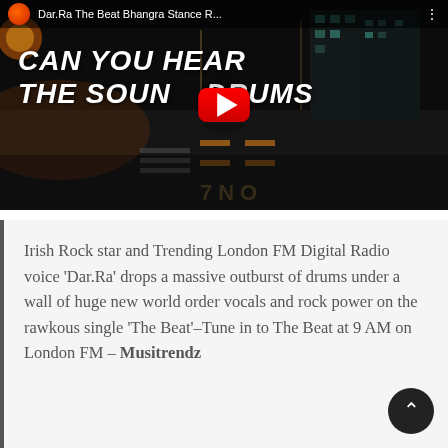[Figure (screenshot): YouTube video thumbnail showing a dark city street scene at night with text overlay 'CAN YOU HEAR THE SOUND OF DRUMS' in white handwritten style font. A large red YouTube play button is centered. The video title bar at top shows 'Dar.Ra The Beat Bhangra Stance R...' with a small circular avatar.]
Irish Rock star and Trending London FM Digital Radio voice 'Dar.Ra' drops a massive outburst of drums under a wall of huge new world order vocals and rock power on the rawkous single 'The Beat'–Tune in to The Beat at 9 AM on London FM  – Musitrendz